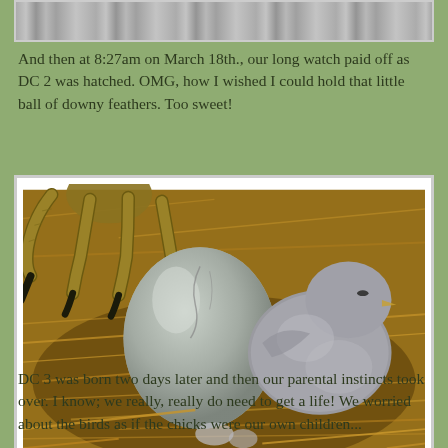[Figure (photo): Partial top strip of a black and white photo of a snowy or icy outdoor scene, cropped at top of page]
And then at 8:27am on March 18th., our long watch paid off as DC 2 was hatched. OMG, how I wished I could hold that little ball of downy feathers. Too sweet!
[Figure (photo): A newly hatched bird chick (eagle or falcon) resting in a nest made of dry grass/straw next to a large silver egg, with large yellow taloned feet of the parent bird visible at the top]
DC 3 was born two days later and then our parental instincts took over. I know; we really, really do need to get a life! We worried about the birds as if the chicks were our own children...